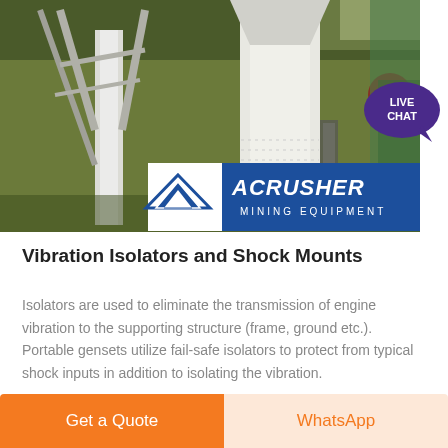[Figure (photo): Industrial mining equipment photo showing large white cylindrical mills and structural supports in a factory/industrial setting, with ACRUSHER MINING EQUIPMENT logo overlay in the lower portion of the image. A 'LIVE CHAT' bubble appears in the top-right.]
Vibration Isolators and Shock Mounts
Isolators are used to eliminate the transmission of engine vibration to the supporting structure (frame, ground etc.). Portable gensets utilize fail-safe isolators to protect from typical shock inputs in addition to isolating the vibration.
Get a Quote | WhatsApp